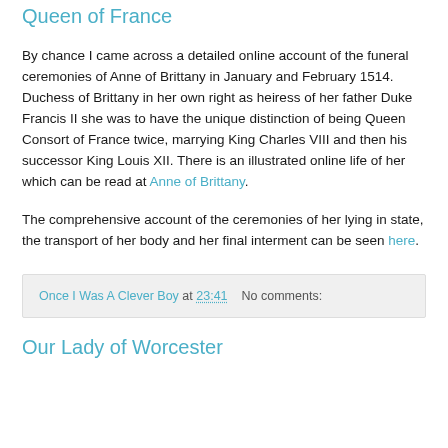Queen of France
By chance I came across a detailed online account of the funeral ceremonies of Anne of Brittany in January and February 1514. Duchess of Brittany in her own right as heiress of her father Duke Francis II she was to have the unique distinction of being Queen Consort of France twice, marrying King Charles VIII and then his successor King Louis XII. There is an illustrated online life of her which can be read at Anne of Brittany.
The comprehensive account of the ceremonies of her lying in state, the transport of her body and her final interment can be seen here.
Once I Was A Clever Boy at 23:41    No comments:
Our Lady of Worcester